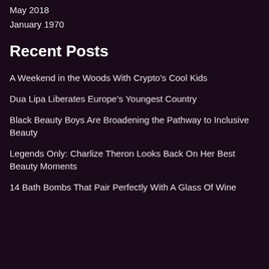May 2018
January 1970
Recent Posts
A Weekend in the Woods With Crypto’s Cool Kids
Dua Lipa Liberates Europe’s Youngest Country
Black Beauty Boys Are Broadening the Pathway to Inclusive Beauty
Legends Only: Charlize Theron Looks Back On Her Best Beauty Moments
14 Bath Bombs That Pair Perfectly With A Glass Of Wine